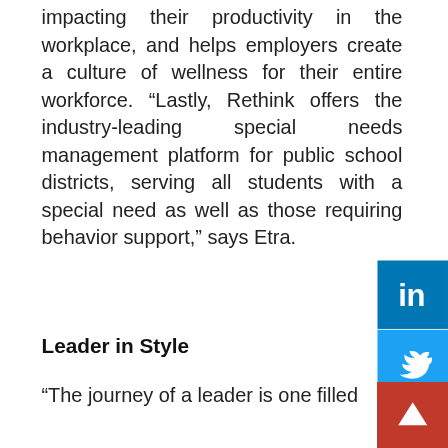impacting their productivity in the workplace, and helps employers create a culture of wellness for their entire workforce. “Lastly, Rethink offers the industry-leading special needs management platform for public school districts, serving all students with a special need as well as those requiring behavior support,” says Etra.
Leader in Style
“The journey of a leader is one filled